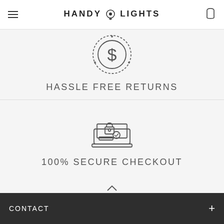HANDY LIGHTS
[Figure (illustration): Dollar coin/money icon with circular border and dotted rotation marks]
HASSLE FREE RETURNS
[Figure (illustration): Secure checkout icon showing laptop with padlock and checkmark]
100% SECURE CHECKOUT
BACK TO TOP
CONTACT